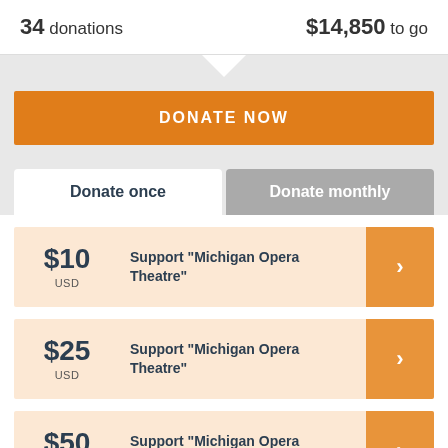34 donations
$14,850 to go
DONATE NOW
Donate once
Donate monthly
$10 USD — Support "Michigan Opera Theatre"
$25 USD — Support "Michigan Opera Theatre"
$50 USD — Support "Michigan Opera Theatre"